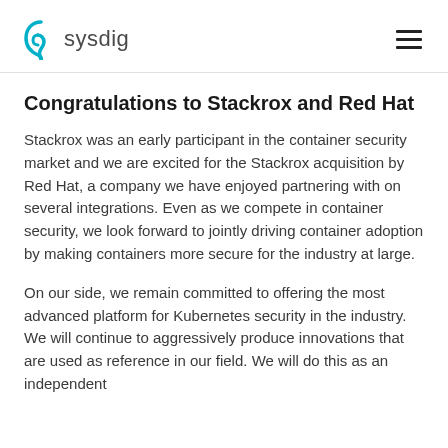sysdig
Congratulations to Stackrox and Red Hat
Stackrox was an early participant in the container security market and we are excited for the Stackrox acquisition by Red Hat, a company we have enjoyed partnering with on several integrations. Even as we compete in container security, we look forward to jointly driving container adoption by making containers more secure for the industry at large.
On our side, we remain committed to offering the most advanced platform for Kubernetes security in the industry. We will continue to aggressively produce innovations that are used as reference in our field. We will do this as an independent